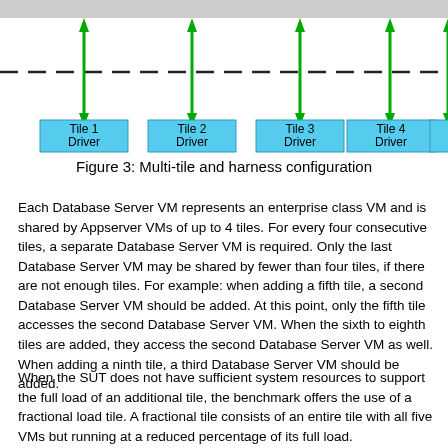[Figure (schematic): Multi-tile harness configuration diagram showing a dashed horizontal line with vertical double-headed green arrows connecting to five tile driver boxes (Tile 1 Driver, Tile 2 Driver, Tile 3 Driver, Tile 4 Driver, Tile 5 Driver partially visible). A gray bar appears at the top. The tile driver boxes are cyan/light-blue rectangles.]
Figure 3: Multi-tile and harness configuration
Each Database Server VM represents an enterprise class VM and is shared by Appserver VMs of up to 4 tiles. For every four consecutive tiles, a separate Database Server VM is required. Only the last Database Server VM may be shared by fewer than four tiles, if there are not enough tiles. For example: when adding a fifth tile, a second Database Server VM should be added. At this point, only the fifth tile accesses the second Database Server VM. When the sixth to eighth tiles are added, they access the second Database Server VM as well. When adding a ninth tile, a third Database Server VM should be added.
When the SUT does not have sufficient system resources to support the full load of an additional tile, the benchmark offers the use of a fractional load tile. A fractional tile consists of an entire tile with all five VMs but running at a reduced percentage of its full load.